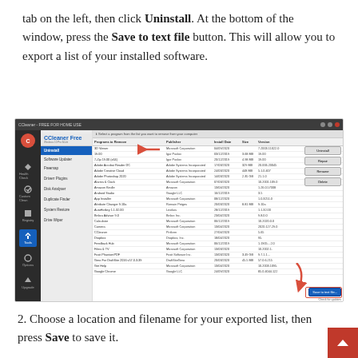tab on the left, then click Uninstall. At the bottom of the window, press the Save to text file button. This will allow you to export a list of your installed software.
[Figure (screenshot): CCleaner Free application window showing the Tools > Uninstall tab with a list of installed programs and a highlighted 'Save to text file...' button in the bottom right, with a red arrow pointing to it.]
2. Choose a location and filename for your exported list, then press Save to save it.